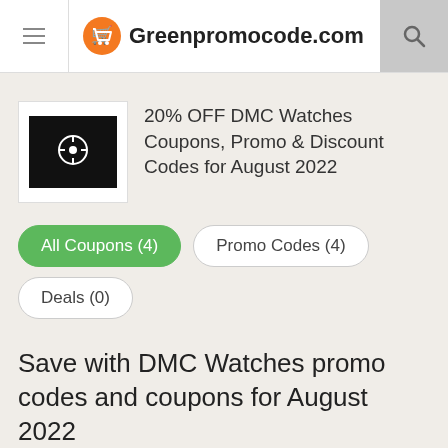Greenpromocode.com
20% OFF DMC Watches Coupons, Promo & Discount Codes for August 2022
All Coupons (4)
Promo Codes (4)
Deals (0)
Save with DMC Watches promo codes and coupons for August 2022